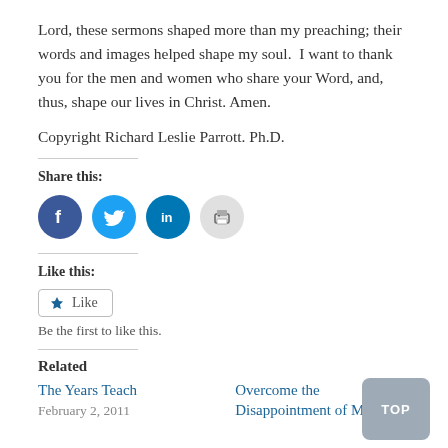Lord, these sermons shaped more than my preaching; their words and images helped shape my soul.  I want to thank you for the men and women who share your Word, and, thus, shape our lives in Christ. Amen.
Copyright Richard Leslie Parrott. Ph.D.
Share this:
[Figure (infographic): Four social sharing icons: Facebook (blue circle), Twitter (blue circle), LinkedIn (blue circle), Print (grey circle)]
Like this:
Like
Be the first to like this.
Related
The Years Teach
February 2, 2011
Overcome the Disappointment of Ministry